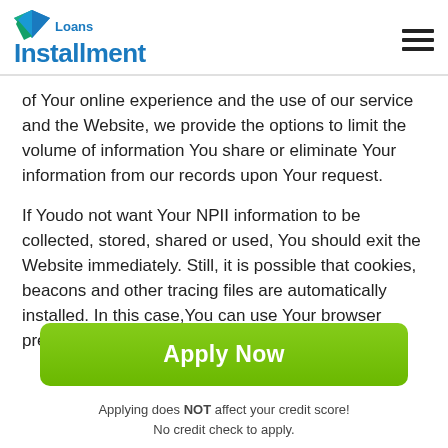Installment Loans
of Your online experience and the use of our service and the Website, we provide the options to limit the volume of information You share or eliminate Your information from our records upon Your request.
If Youdo not want Your NPII information to be collected, stored, shared or used, You should exit the Website immediately. Still, it is possible that cookies, beacons and other tracing files are automatically installed. In this case,You can use Your browser preferences to delete the
[Figure (other): Green Apply Now button]
Applying does NOT affect your credit score!
No credit check to apply.